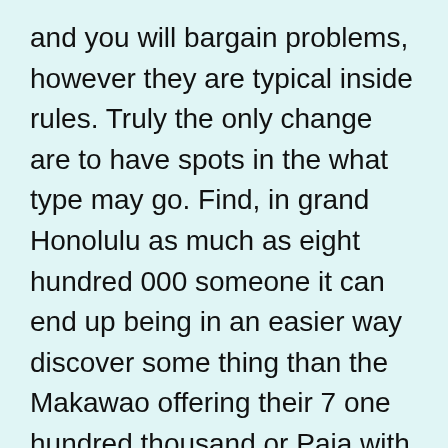and you will bargain problems, however they are typical inside rules. Truly the only change are to have spots in the what type may go. Find, in grand Honolulu as much as eight hundred 000 someone it can end up being in an easier way discover some thing than the Makawao offering their 7 one hundred thousand or Paia with not as much as 3000. Certain areas within the Their state try desolate as much as sparsely occupied that you may have to wade someplace else for some currency.
Payday advance loan into